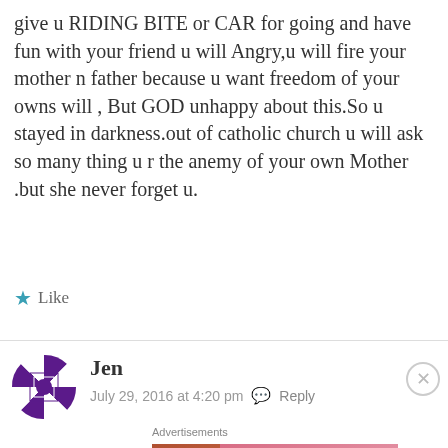give u RIDING BITE or CAR for going and have fun with your friend u will Angry,u will fire your mother n father because u want freedom of your owns will , But GOD unhappy about this.So u stayed in darkness.out of catholic church u will ask so many thing u r the anemy of your own Mother .but she never forget u.
★ Like
Jen
July 29, 2016 at 4:20 pm  Reply
Advertisements
[Figure (screenshot): Victoria's Secret advertisement banner with pink gradient background, model photo, VS logo, 'SHOP THE COLLECTION' text and 'SHOP NOW' button]